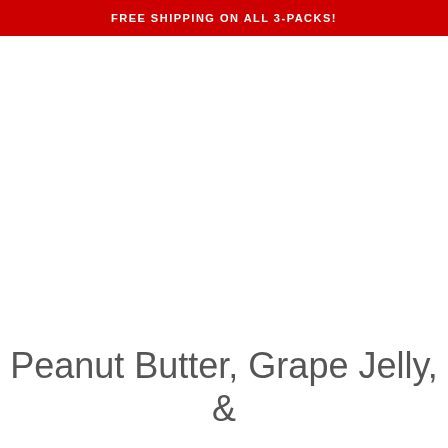FREE SHIPPING ON ALL 3-PACKS!
Peanut Butter, Grape Jelly, &